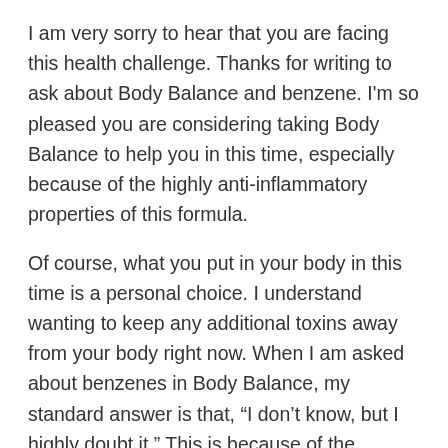I am very sorry to hear that you are facing this health challenge. Thanks for writing to ask about Body Balance and benzene. I'm so pleased you are considering taking Body Balance to help you in this time, especially because of the highly anti-inflammatory properties of this formula.
Of course, what you put in your body in this time is a personal choice. I understand wanting to keep any additional toxins away from your body right now. When I am asked about benzenes in Body Balance, my standard answer is that, “I don’t know, but I highly doubt it.” This is because of the following:
Body Balance contains a low amount of Vitamin C, even though it is highly bioavailable Vitamin C. This is why many people decide to add Vitali-C Product page to their Body Balance. There is so little of the potassium salt and not much of the